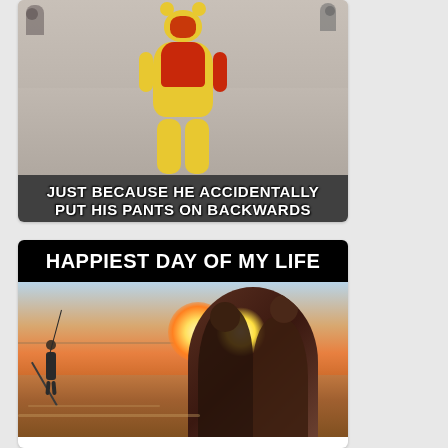[Figure (photo): Person in Winnie the Pooh costume (yellow pants, red shirt) standing in a public square with other people in background]
JUST BECAUSE HE ACCIDENTALLY PUT HIS PANTS ON BACKWARDS
[Figure (photo): Split meme: black header with 'HAPPIEST DAY OF MY LIFE' text, with image below showing a lone fisherman on a beach at sunset on the left side and a couple silhouetted kissing/embracing with sunlight between them on the right side]